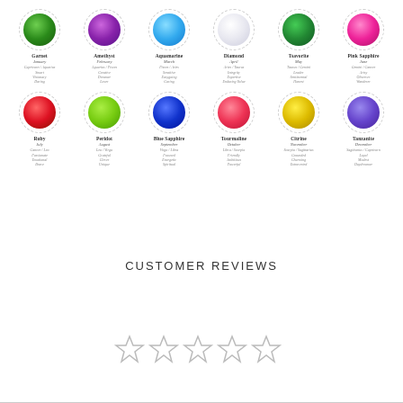[Figure (infographic): 12 birthstone gems arranged in 2 rows of 6, each with gem circle, name, month, zodiac sign, and personality traits. Row 1: Garnet (January, Capricorn/Aquarius, Smart/Visionary/Daring), Amethyst (February, Aquarius/Pisces, Creative/Dreamer/Lover), Aquamarine (March, Pisces/Aries, Sensitive/Easygoing/Caring), Diamond (April, Aries/Taurus, Integrity/Expertise/Enduring Value), Tsavorite (May, Taurus/Gemini, Leader/Sentimental/Honest), Pink Sapphire (June, Gemini/Cancer, Artsy/Observer/Wanderer). Row 2: Ruby (July, Cancer/Leo, Passionate/Emotional/Brave), Peridot (August, Leo/Virgo, Grateful/Clever/Unique), Blue Sapphire (September, Virgo/Libra, Focused/Energetic/Spiritual), Tourmaline (October, Libra/Scorpio, Friendly/Ambitious/Powerful), Citrine (November, Scorpio/Sagittarius, Grounded/Charming/Extroverted), Tanzanite (December, Sagittarius/Capricorn, Loyal/Modest/Daydreamer)]
CUSTOMER REVIEWS
[Figure (other): Five empty star icons in a row representing a rating system]